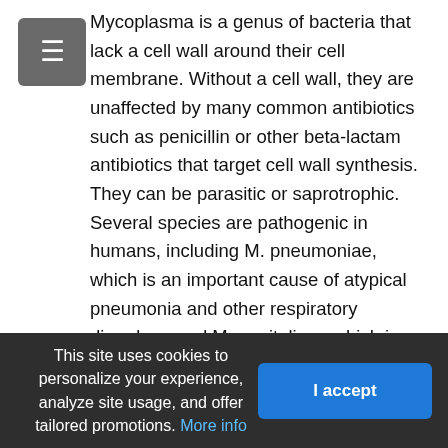[Figure (other): Hamburger menu button (three horizontal lines icon) in the top-left corner]
Mycoplasma is a genus of bacteria that lack a cell wall around their cell membrane. Without a cell wall, they are unaffected by many common antibiotics such as penicillin or other beta-lactam antibiotics that target cell wall synthesis. They can be parasitic or saprotrophic. Several species are pathogenic in humans, including M. pneumoniae, which is an important cause of atypical pneumonia and other respiratory disorders, and M. genitalium, which is believed to be involved in pelvic inflammatory diseases. Mycoplasma species are the smallest bacterial cells yet discovered, can survive without oxygen, and come in various shapes. For example, M. genitalium is flask-shaped (about 300 x 600 nm), while M. pneumoniae is more elongated (about 100 x 1000 nm). Hundreds of mycoplasmas infect animals
This site uses cookies to personalize your experience, analyze site usage, and offer tailored promotions. More info